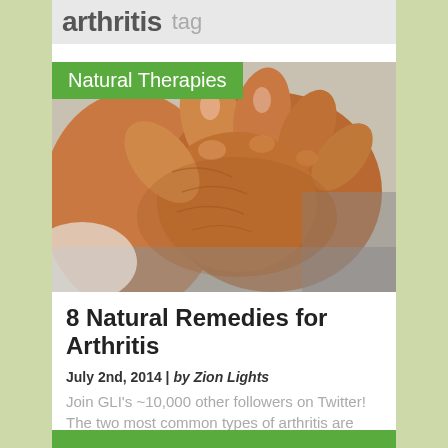arthritis  tag
[Figure (photo): Close-up photo of elderly arthritic hands clasped together, with a green 'Natural Therapies' label overlay in the top-left corner]
8 Natural Remedies for Arthritis
July 2nd, 2014 | by Zion Lights
Join GLI's ~10,000 other followers on Twitter! The two most common types of arthritis are osteoarthritis and rheumatoid arthritis. The [&hellip